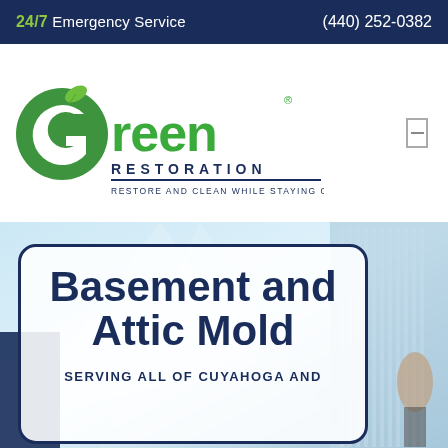24/7 Emergency Service   (440) 252-0382
[Figure (logo): Green Restoration logo with green leaf icon and text, tagline: RESTORE AND CLEAN WHILE STAYING GREEN®]
[Figure (photo): Hero section with background photo of city/building, white rounded card overlay with title Basement and Attic Mold and subtitle SERVING ALL OF CUYAHOGA AND]
Basement and Attic Mold
SERVING ALL OF CUYAHOGA AND